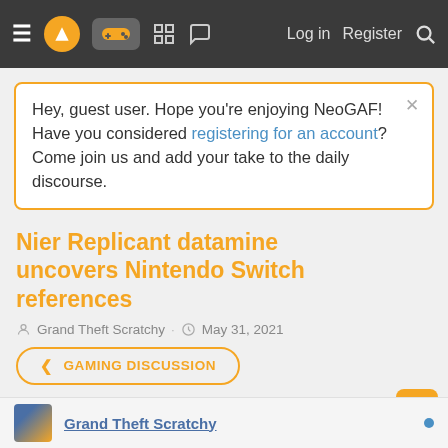NeoGAF navigation bar with hamburger menu, logo, controller icon, grid icon, chat icon, Log in, Register, Search
Hey, guest user. Hope you're enjoying NeoGAF! Have you considered registering for an account? Come join us and add your take to the daily discourse.
Nier Replicant datamine uncovers Nintendo Switch references
Grand Theft Scratchy · May 31, 2021
< GAMING DISCUSSION
Grand Theft Scratchy